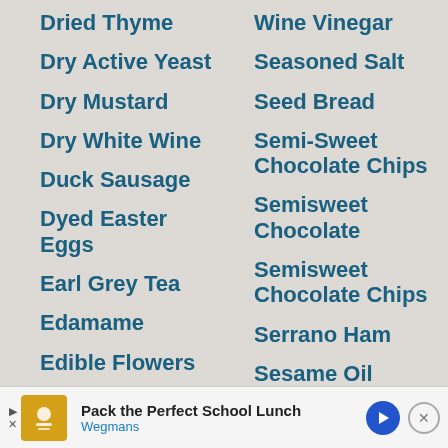Dried Thyme
Dry Active Yeast
Dry Mustard
Dry White Wine
Duck Sausage
Dyed Easter Eggs
Earl Grey Tea
Edamame
Edible Flowers
Egg N…
Wine Vinegar
Seasoned Salt
Seed Bread
Semi-Sweet Chocolate Chips
Semisweet Chocolate
Semisweet Chocolate Chips
Serrano Ham
Sesame Oil
Pack the Perfect School Lunch — Wegmans (advertisement)